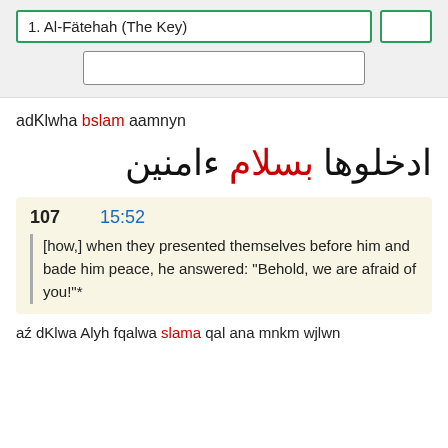1. Al-Fätehah (The Key)
adKlwha bslam aamnyn
ادخلوها بسلام ءامنين
| 107 | 15:52 |
| --- | --- |
| [how,] when they presented themselves before him and bade him peace, he answered: "Behold, we are afraid of you!"* |
aź dKlwa Alyh fqalwa slama qal ana mnkm wjlwn